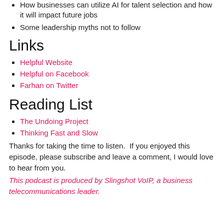How businesses can utilize AI for talent selection and how it will impact future jobs
Some leadership myths not to follow
Links
Helpful Website
Helpful on Facebook
Farhan on Twitter
Reading List
The Undoing Project
Thinking Fast and Slow
Thanks for taking the time to listen.  If you enjoyed this episode, please subscribe and leave a comment, I would love to hear from you.
This podcast is produced by Slingshot VoIP, a business telecommunications leader.